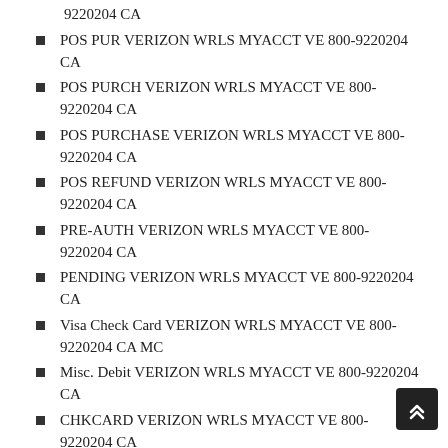9220204 CA
POS PUR VERIZON WRLS MYACCT VE 800-9220204 CA
POS PURCH VERIZON WRLS MYACCT VE 800-9220204 CA
POS PURCHASE VERIZON WRLS MYACCT VE 800-9220204 CA
POS REFUND VERIZON WRLS MYACCT VE 800-9220204 CA
PRE-AUTH VERIZON WRLS MYACCT VE 800-9220204 CA
PENDING VERIZON WRLS MYACCT VE 800-9220204 CA
Visa Check Card VERIZON WRLS MYACCT VE 800-9220204 CA MC
Misc. Debit VERIZON WRLS MYACCT VE 800-9220204 CA
CHKCARD VERIZON WRLS MYACCT VE 800-9220204 CA